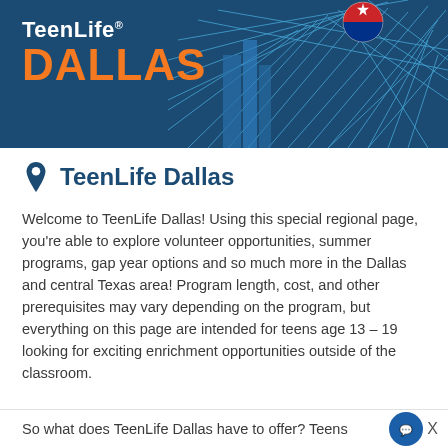[Figure (illustration): TeenLife Dallas banner with dark blue background, orange DALLAS text, white TeenLife text, and abstract blue geometric/network structure with Texas flag ball on the right side]
TeenLife Dallas
Welcome to TeenLife Dallas! Using this special regional page, you're able to explore volunteer opportunities, summer programs, gap year options and so much more in the Dallas and central Texas area! Program length, cost, and other prerequisites may vary depending on the program, but everything on this page are intended for teens age 13 – 19 looking for exciting enrichment opportunities outside of the classroom.
So what does TeenLife Dallas have to offer? Teens